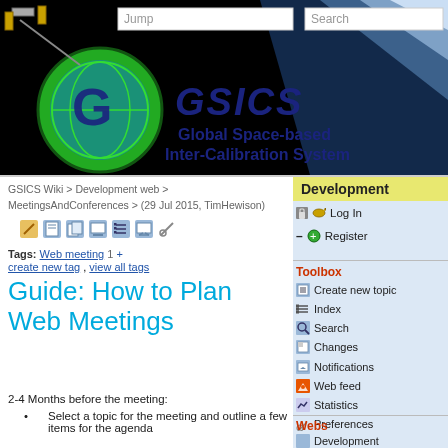[Figure (logo): GSICS (Global Space-based Inter-Calibration System) banner with satellite image, green globe logo, and GSICS text on black background. Jump and Search input boxes at top.]
GSICS Wiki > Development web > MeetingsAndConferences > (29 Jul 2015, TimHewison)
Tags: Web meeting 1 + create new tag , view all tags
Guide: How to Plan Web Meetings
2-4 Months before the meeting:
Select a topic for the meeting and outline a few items for the agenda
Development
Log In
Register
Toolbox
Create new topic
Index
Search
Changes
Notifications
Web feed
Statistics
Preferences
Webs
Development